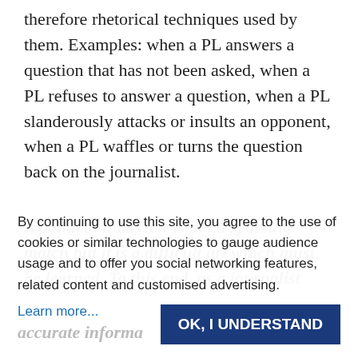therefore rhetorical techniques used by them. Examples: when a PL answers a question that has not been asked, when a PL refuses to answer a question, when a PL slanderously attacks or insults an opponent, when a PL waffles or turns the question back on the journalist.
A political interview is not a sparring match but it is a difficult art which must be learned. To this end, as a journalist
By continuing to use this site, you agree to the use of cookies or similar technologies to gauge audience usage and to offer you social networking features, related content and customised advertising.
Learn more...